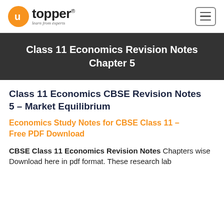[Figure (logo): Toppr logo with orange circle containing 'u' icon, 'topper' wordmark in black, tagline 'learn from experts', and hamburger menu button on the right]
Class 11 Economics Revision Notes Chapter 5
Class 11 Economics CBSE Revision Notes 5 – Market Equilibrium
Economics Study Notes for CBSE Class 11 – Free PDF Download
CBSE Class 11 Economics Revision Notes Chapters wise Download here in pdf format. These research lab